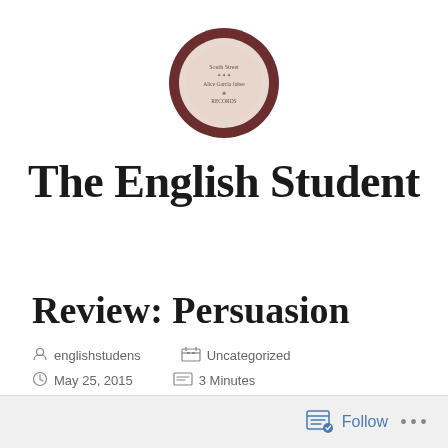[Figure (logo): Circular logo for The English Student blog — dark brown outer ring with a lighter pinkish-beige inner circle containing small handwritten-style text]
The English Student
Review: Persuasion
englishstudens   Uncategorized   May 25, 2015   3 Minutes
Follow ...